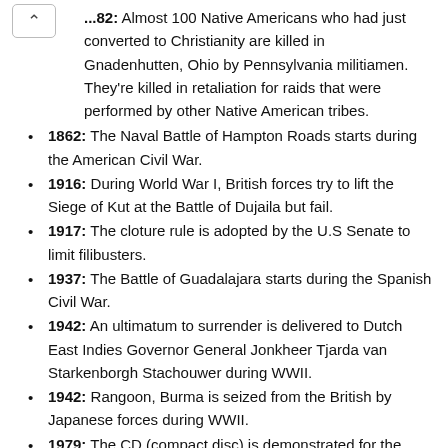...82: Almost 100 Native Americans who had just converted to Christianity are killed in Gnadenhutten, Ohio by Pennsylvania militiamen. They're killed in retaliation for raids that were performed by other Native American tribes.
1862: The Naval Battle of Hampton Roads starts during the American Civil War.
1916: During World War I, British forces try to lift the Siege of Kut at the Battle of Dujaila but fail.
1917: The cloture rule is adopted by the U.S Senate to limit filibusters.
1937: The Battle of Guadalajara starts during the Spanish Civil War.
1942: An ultimatum to surrender is delivered to Dutch East Indies Governor General Jonkheer Tjarda van Starkenborgh Stachouwer during WWII.
1942: Rangoon, Burma is seized from the British by Japanese forces during WWII.
1979: The CD (compact disc) is demonstrated for the public by the Philips Company for the very first time.
1983: United States President Ronald Reagan calls the Soviet Union an "Evil Empire" during a speech at a convention to U.S Evangelicals.